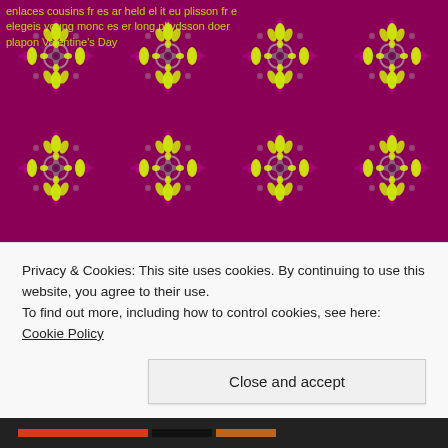[Figure (illustration): Decorative magenta/purple floral and scroll tile pattern background with yellow-green and grey motifs repeating across the full page]
enlaces cousins fr es ar held el it eu plisson fr e
elegeis young monc es er long plIvdsson doer
plapon Valentine's Day
[Figure (screenshot): Email share button with envelope icon]
Privacy & Cookies: This site uses cookies. By continuing to use this website, you agree to their use.
To find out more, including how to control cookies, see here: Cookie Policy
Close and accept